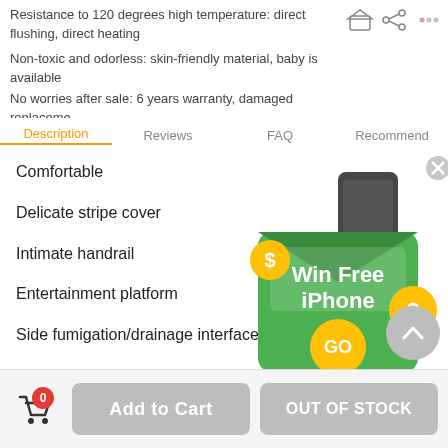Resistance to 120 degrees high temperature: direct flushing, direct heating
Non-toxic and odorless: skin-friendly material, baby is available
No worries after sale: 6 years warranty, damaged replacement
Description | Reviews | FAQ | Recommend
Comfortable
Delicate stripe cover
Intimate handrail
Entertainment platform
Side fumigation/drainage interface
Bottom lengthened design
Drain plug
1□Car styling handshake
[Figure (screenshot): Advertisement popup: 'Win Free iPhone' with green envelope graphic, dollar coins, and GO button]
Cart (0) | Add to Cart | OUT OF STOCK